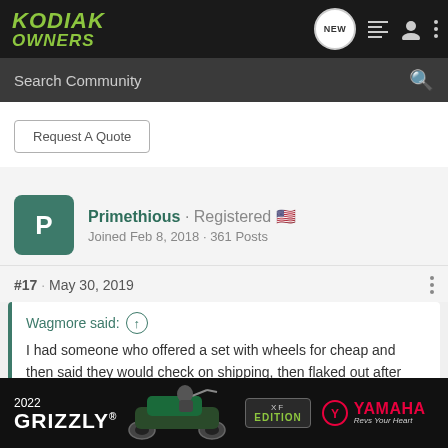KODIAK OWNERS
Search Community
Request A Quote
Primethious · Registered 🇺🇸
Joined Feb 8, 2018 · 361 Posts
#17 · May 30, 2019
Wagmore said: ↑
I had someone who offered a set with wheels for cheap and then said they would check on shipping, then flaked out after making me wait for a c
[Figure (screenshot): Yamaha 2022 Grizzly XF Edition advertisement banner at bottom of page]